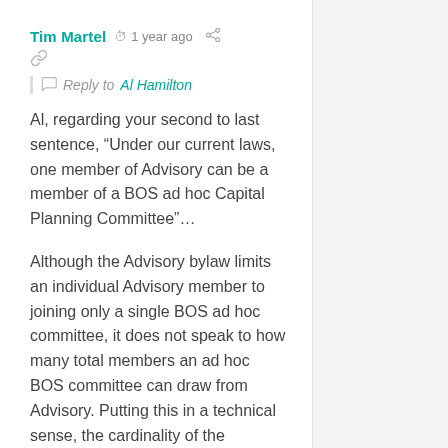Tim Martel  1 year ago
Reply to Al Hamilton
Al, regarding your second to last sentence, “Under our current laws, one member of Advisory can be a member of a BOS ad hoc Capital Planning Committee”…
Although the Advisory bylaw limits an individual Advisory member to joining only a single BOS ad hoc committee, it does not speak to how many total members an ad hoc BOS committee can draw from Advisory. Putting this in a technical sense, the cardinality of the